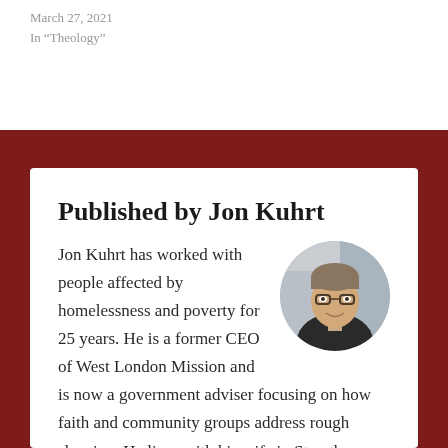March 27, 2021
In "Theology"
Published by Jon Kuhrt
[Figure (photo): Circular headshot photo of Jon Kuhrt, a smiling man with glasses and short hair, wearing a dark jacket, photographed indoors.]
Jon Kuhrt has worked with people affected by homelessness and poverty for 25 years. He is a former CEO of West London Mission and is now a government adviser focusing on how faith and community groups address rough sleeping. He lives with his wife in Streatham, south London and they have 3 teenage children. He likes football, but loves cricket. View all